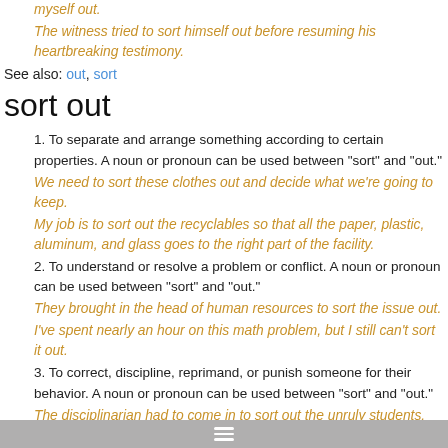myself out.
The witness tried to sort himself out before resuming his heartbreaking testimony.
See also: out, sort
sort out
1. To separate and arrange something according to certain properties. A noun or pronoun can be used between "sort" and "out."
We need to sort these clothes out and decide what we're going to keep.
My job is to sort out the recyclables so that all the paper, plastic, aluminum, and glass goes to the right part of the facility.
2. To understand or resolve a problem or conflict. A noun or pronoun can be used between "sort" and "out."
They brought in the head of human resources to sort the issue out.
I've spent nearly an hour on this math problem, but I still can't sort it out.
3. To correct, discipline, reprimand, or punish someone for their behavior. A noun or pronoun can be used between "sort" and "out."
The disciplinarian had to come in to sort out the unruly students.
A: "The new accountant has been giving me nothing but grief since he